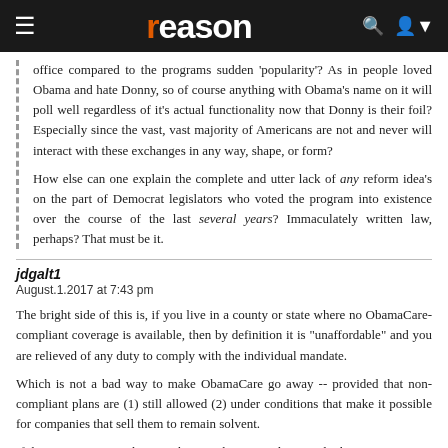reason
office compared to the programs sudden 'popularity'? As in people loved Obama and hate Donny, so of course anything with Obama's name on it will poll well regardless of it's actual functionality now that Donny is their foil? Especially since the vast, vast majority of Americans are not and never will interact with these exchanges in any way, shape, or form?

How else can one explain the complete and utter lack of any reform idea's on the part of Democrat legislators who voted the program into existence over the course of the last several years? Immaculately written law, perhaps? That must be it.
jdgalt1
August.1.2017 at 7:43 pm
The bright side of this is, if you live in a county or state where no ObamaCare-compliant coverage is available, then by definition it is "unaffordable" and you are relieved of any duty to comply with the individual mandate.

Which is not a bad way to make ObamaCare go away -- provided that non-compliant plans are (1) still allowed (2) under conditions that make it possible for companies that sell them to remain solvent.

If this turns out not to be true, then maybe we need to start looking